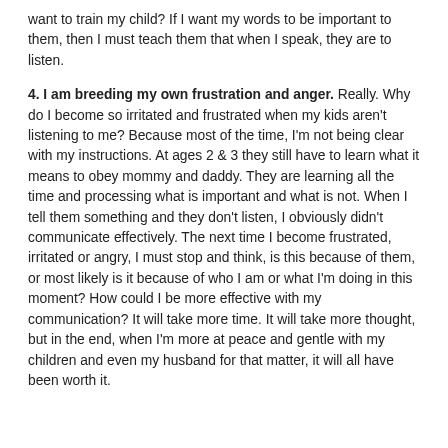want to train my child?  If I want my words to be important to them, then I must teach them that when I speak, they are to listen.
4. I am breeding my own frustration and anger.  Really.  Why do I become so irritated and frustrated when my kids aren't listening to me?  Because most of the time, I'm not being clear with my instructions.  At ages 2 & 3 they still have to learn what it means to obey mommy and daddy.  They are learning all the time and processing what is important and what is not.  When I tell them something and they don't listen, I obviously didn't communicate effectively.  The next time I become frustrated, irritated or angry, I must stop and think, is this because of them, or most likely is it because of who I am or what I'm doing in this moment?  How could I be more effective with my communication?  It will take more time.  It will take more thought, but in the end, when I'm more at peace and gentle with my children and even my husband for that matter, it will all have been worth it.